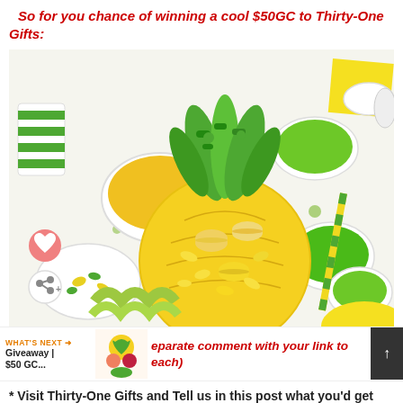So for you chance of winning a cool $50GC to Thirty-One Gifts:
[Figure (photo): Overhead photo of pineapple-shaped cookie/candy arrangement with yellow and green candies, macarons, sugar, and party decorations on a white surface. Heart and share buttons visible on left side.]
eparate comment with your link to each)
* Visit Thirty-One Gifts and Tell us in this post what you'd get
* Do... here